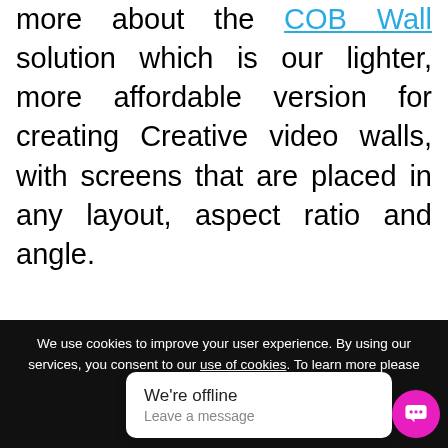more about the COB Wall solution which is our lighter, more affordable version for creating Creative video walls, with screens that are placed in any layout, aspect ratio and angle.
We use cookies to improve your user experience. By using our services, you consent to our use of cookies. To learn more please read ou...
We're offline
Leave a message